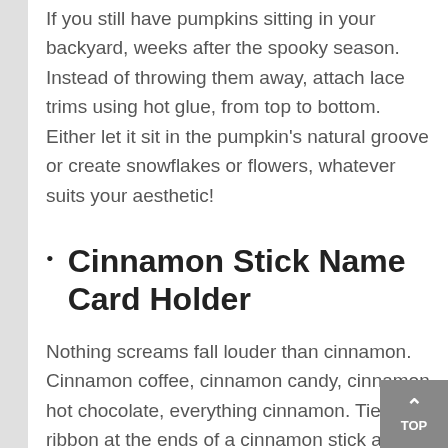If you still have pumpkins sitting in your backyard, weeks after the spooky season. Instead of throwing them away, attach lace trims using hot glue, from top to bottom. Either let it sit in the pumpkin's natural groove or create snowflakes or flowers, whatever suits your aesthetic!
Cinnamon Stick Name Card Holder
Nothing screams fall louder than cinnamon. Cinnamon coffee, cinnamon candy, cinnamon hot chocolate, everything cinnamon. Tie a red ribbon at the ends of a cinnamon stick and place it on the dinner plates. Each stick holds the name tag of the